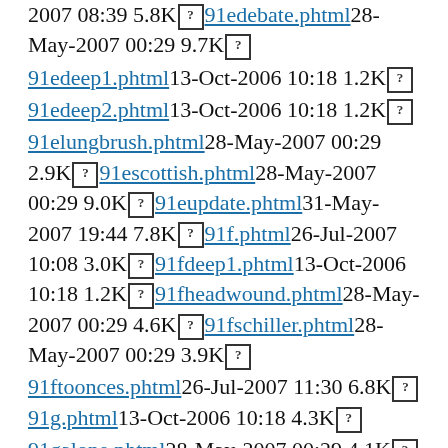2007 08:39 5.8K [?] 91edebate.phtml 28-May-2007 00:29 9.7K [?]
91edeep1.phtml 13-Oct-2006 10:18 1.2K [?]
91edeep2.phtml 13-Oct-2006 10:18 1.2K [?]
91elungbrush.phtml 28-May-2007 00:29 2.9K [?] 91escottish.phtml 28-May-2007 00:29 9.0K [?] 91eupdate.phtml 31-May-2007 19:44 7.8K [?] 91f.phtml 26-Jul-2007 10:08 3.0K [?] 91fdeep1.phtml 13-Oct-2006 10:18 1.2K [?] 91fheadwound.phtml 28-May-2007 00:29 4.6K [?] 91fschiller.phtml 28-May-2007 00:29 3.9K [?]
91ftoonces.phtml 26-Jul-2007 11:30 6.8K [?] 91g.phtml 13-Oct-2006 10:18 4.3K [?]
91galone.phtml 28-May-2007 00:29 4.1K [?] 91gcaveman.phtml 28-May-2007 00:29